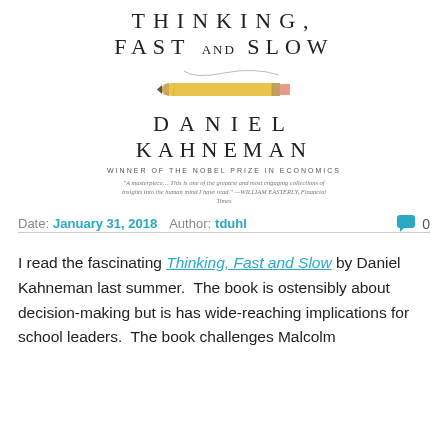[Figure (photo): Book cover of 'Thinking, Fast and Slow' by Daniel Kahneman, showing the title in spaced serif letters, a pencil with a curving line, author name, 'Winner of the Nobel Prize in Economics', and a review blurb.]
Date: January 31, 2018   Author: tduhl   0
I read the fascinating Thinking, Fast and Slow by Daniel Kahneman last summer.  The book is ostensibly about decision-making but is has wide-reaching implications for school leaders.  The book challenges Malcolm